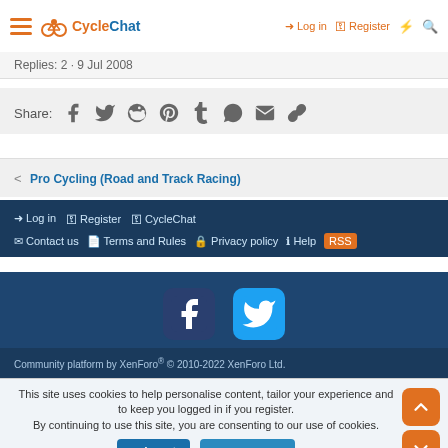CycleChat | Log in | Register
Replies: 2 · 9 Jul 2008
Share:
Pro Cycling (Road and Track Racing)
Log in | Register | CycleChat | Contact us | Terms and Rules | Privacy policy | Help
Community platform by XenForo® © 2010-2022 XenForo Ltd.
This site uses cookies to help personalise content, tailor your experience and to keep you logged in if you register. By continuing to use this site, you are consenting to our use of cookies.